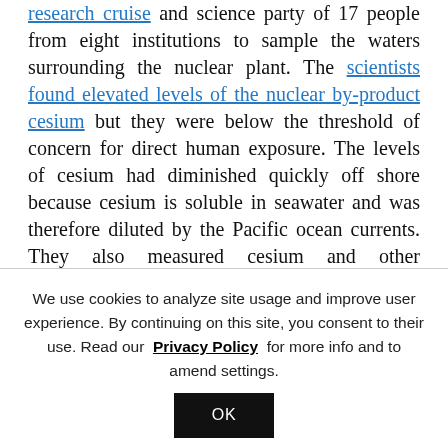research cruise and science party of 17 people from eight institutions to sample the waters surrounding the nuclear plant. The scientists found elevated levels of the nuclear by-product cesium but they were below the threshold of concern for direct human exposure. The levels of cesium had diminished quickly off shore because cesium is soluble in seawater and was therefore diluted by the Pacific ocean currents. They also measured cesium and other radionuclides in plankton and fish and, in subsequent cruises, collected sediments from the seafloor near the plant. To this date, important fisheries off Fukushima remain
We use cookies to analyze site usage and improve user experience. By continuing on this site, you consent to their use. Read our Privacy Policy for more info and to amend settings.